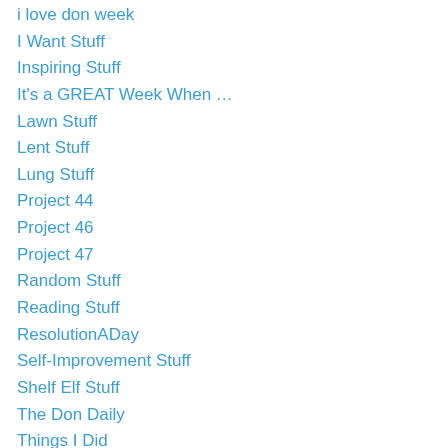i love don week
I Want Stuff
Inspiring Stuff
It's a GREAT Week When …
Lawn Stuff
Lent Stuff
Lung Stuff
Project 44
Project 46
Project 47
Random Stuff
Reading Stuff
ResolutionADay
Self-Improvement Stuff
Shelf Elf Stuff
The Don Daily
Things I Did
Things I Do
Things I Don't Do
Things I Hate